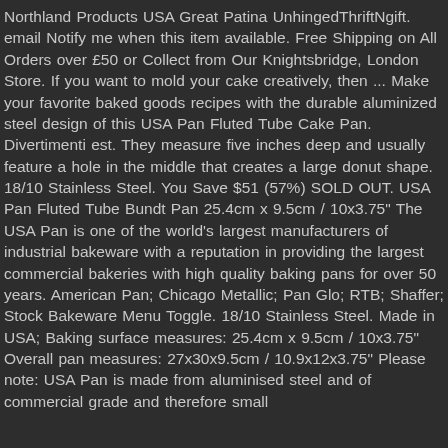Northland Products USA Great Patina UnhingedThriftNgift. email Notify me when this item available. Free Shipping on All Orders over £50 or Collect from Our Knightsbridge, London Store. If you want to mold your cake creatively, then ... Make your favorite baked goods recipes with the durable aluminized steel design of this USA Pan Fluted Tube Cake Pan. Divertimenti est. They measure five inches deep and usually feature a hole in the middle that creates a large donut shape. 18/10 Stainless Steel. You Save $51 (57%) SOLD OUT. USA Pan Fluted Tube Bundt Pan 25.4cm x 9.5cm / 10x3.75" The USA Pan is one of the world's largest manufacturers of industrial bakeware with a reputation in providing the largest commercial bakeries with high quality baking pans for over 50 years. American Pan; Chicago Metallic; Pan Glo; RTB; Shaffer; Stock Bakeware Menu Toggle. 18/10 Stainless Steel. Made in USA; Baking surface measures: 25.4cm x 9.5cm / 10x3.75" Overall pan measures: 27x30x9.5cm / 10.9x12x3.75" Please note: USA Pan is made from aluminised steel and of commercial grade and therefore small